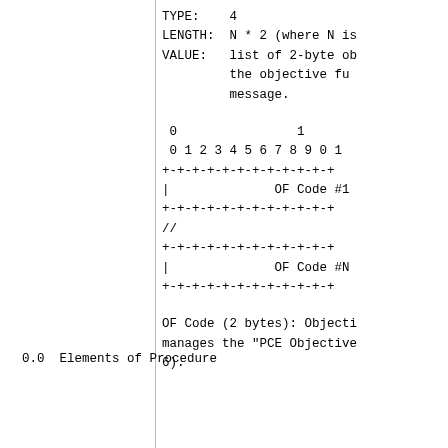TYPE:    4
LENGTH:  N * 2 (where N is
VALUE:   list of 2-byte ob
         the objective fu
         message.
0                1
 0 1 2 3 4 5 6 7 8 9 0 1
+-+-+-+-+-+-+-+-+-+-+-+
|              OF Code #1
+-+-+-+-+-+-+-+-+-+-+-+
//
+-+-+-+-+-+-+-+-+-+-+-+
|              OF Code #N
+-+-+-+-+-+-+-+-+-+-+-+
OF Code (2 bytes): Objecti
manages the "PCE Objective
6).
0.0  Elements of Procedure